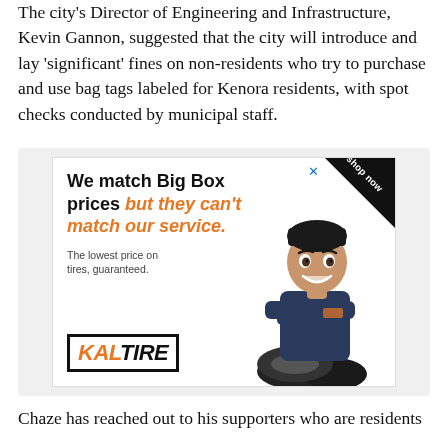The city's Director of Engineering and Infrastructure, Kevin Gannon, suggested that the city will introduce and lay 'significant' fines on non-residents who try to purchase and use bag tags labeled for Kenora residents, with spot checks conducted by municipal staff.
[Figure (illustration): Kal Tire advertisement: 'We match Big Box prices but they can't match our service. The lowest price on tires, guaranteed.' with Kal Tire logo and animated tire technician character.]
Chaze has reached out to his supporters who are residents